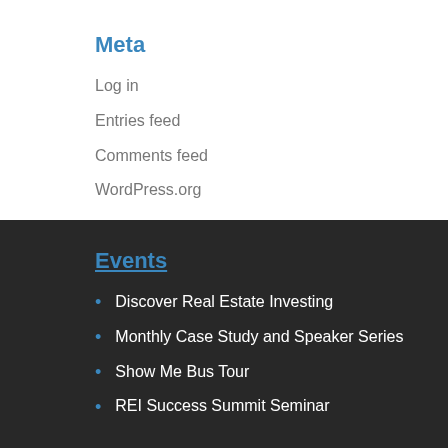Meta
Log in
Entries feed
Comments feed
WordPress.org
Events
Discover Real Estate Investing
Monthly Case Study and Speaker Series
Show Me Bus Tour
REI Success Summit Seminar